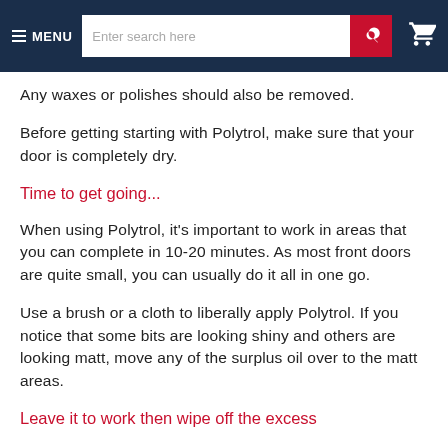MENU | Enter search here | [search button] | [cart icon]
Any waxes or polishes should also be removed.
Before getting starting with Polytrol, make sure that your door is completely dry.
Time to get going...
When using Polytrol, it’s important to work in areas that you can complete in 10-20 minutes. As most front doors are quite small, you can usually do it all in one go.
Use a brush or a cloth to liberally apply Polytrol. If you notice that some bits are looking shiny and others are looking matt, move any of the surplus oil over to the matt areas.
Leave it to work then wipe off the excess